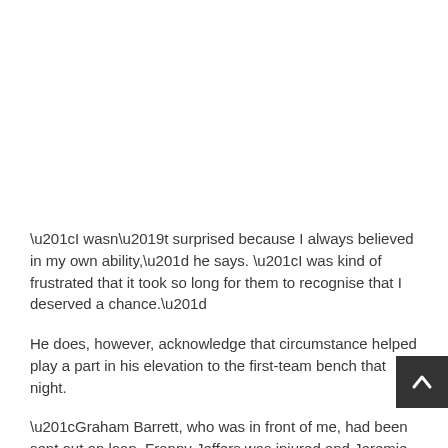“I wasn’t surprised because I always believed in my own ability,” he says. “I was kind of frustrated that it took so long for them to recognise that I deserved a chance.”
He does, however, acknowledge that circumstance helped play a part in his elevation to the first-team bench that night.
“Graham Barrett, who was in front of me, had been sent out on loan. Franny Jeffers was injured and Jeremie Aliadiere